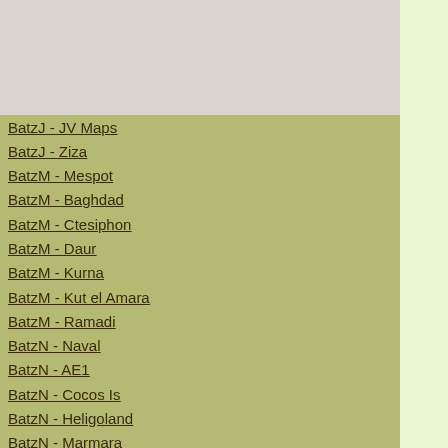BatzJ - JV Maps
BatzJ - Ziza
BatzM - Mespot
BatzM - Baghdad
BatzM - Ctesiphon
BatzM - Daur
BatzM - Kurna
BatzM - Kut el Amara
BatzM - Ramadi
BatzN - Naval
BatzN - AE1
BatzN - Cocos Is
BatzN - Heligoland
BatzN - Marmara
BatzN - Zeebrugge
BatzN - Zeppelin L43
BatzNG - Bitapaka
BatzO - Other
BatzO - Baku
BatzO - Egypt 1919
BatzO - Emptsa
BatzO - Karawaran
BatzO - Peitang
BatzO - Wassa
BatzP - Palestine